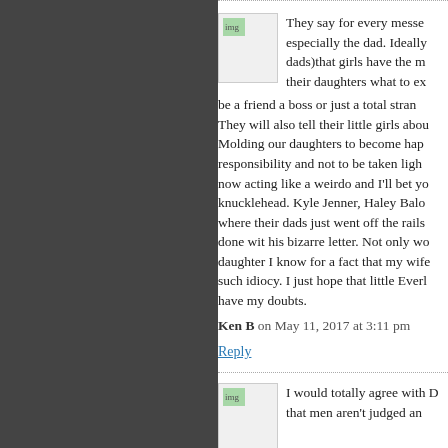They say for every messe especially the dad. Ideally dads)that girls have the m their daughters what to ex be a friend a boss or just a total stran They will also tell their little girls abou Molding our daughters to become hap responsibility and not to be taken ligh now acting like a weirdo and I'll bet yo knucklehead. Kyle Jenner, Haley Balo where their dads just went off the rails done wit his bizarre letter. Not only wo daughter I know for a fact that my wife such idiocy. I just hope that little Ever have my doubts.
Ken B on May 11, 2017 at 3:11 pm
Reply
I would totally agree with D that men aren't judged an